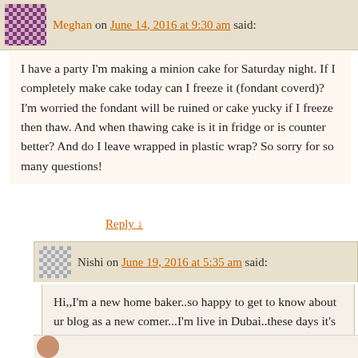Meghan on June 14, 2016 at 9:30 am said:
I have a party I'm making a minion cake for Saturday night. If I completely make cake today can I freeze it (fondant coverd)? I'm worried the fondant will be ruined or cake yucky if I freeze then thaw. And when thawing cake is it in fridge or is counter better? And do I leave wrapped in plastic wrap? So sorry for so many questions!
Reply ↓
Nishi on June 19, 2016 at 5:35 am said:
Hi,,I'm a new home baker..so happy to get to know about ur blog as a new comer...I'm live in Dubai..these days it's so hot in here..I made a ganache frosted fondant covered cake once.then I refrigerated it..after I cut it ,it was sticky between ganache and fondant..what can I do for that please? If I put it in room temperature , ganache or buttercream will melt or not even its inside of fondant???
Reply ↓